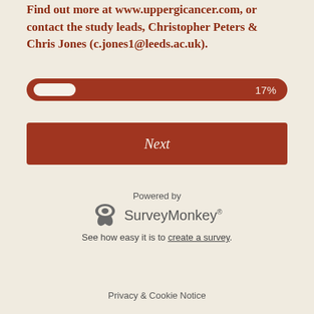Find out more at www.uppergicancer.com, or contact the study leads, Christopher Peters & Chris Jones (c.jones1@leeds.ac.uk).
[Figure (infographic): Progress bar showing 17% completion, dark red/brown background with white fill on left side and '17%' label on right]
Next
Powered by SurveyMonkey®
See how easy it is to create a survey.
Privacy & Cookie Notice